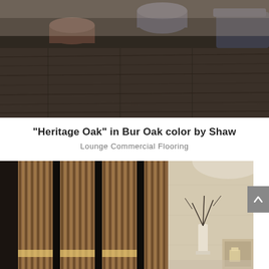[Figure (photo): Interior lounge room with dark hardwood flooring, cylindrical ottomans and chairs in background. Dark oak wood grain floor visible.]
“Heritage Oak” in Bur Oak color by Shaw
Lounge Commercial Flooring
[Figure (photo): Luxury interior hallway or spa area featuring vertical wood slat panels/lockers with warm lighting, and a beige stone/travertine wall. A vase with branches and a small illuminated niche are visible.]